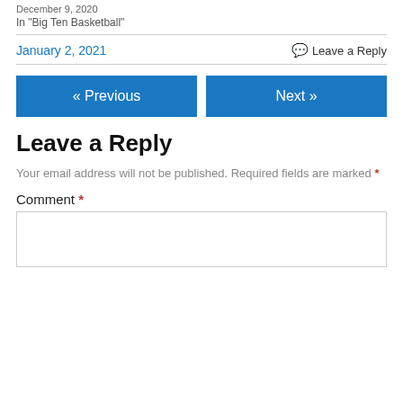December 9, 2020
In "Big Ten Basketball"
January 2, 2021
💬 Leave a Reply
« Previous
Next »
Leave a Reply
Your email address will not be published. Required fields are marked *
Comment *